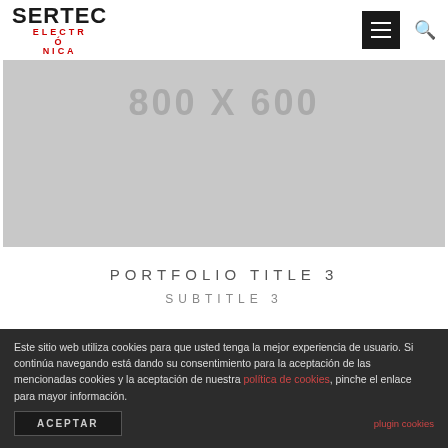SERTEC ELECTRÓNICA — navigation header with menu and search icons
[Figure (other): Grey placeholder image box labeled 800 X 600]
PORTFOLIO TITLE 3
SUBTITLE 3
Este sitio web utiliza cookies para que usted tenga la mejor experiencia de usuario. Si continúa navegando está dando su consentimiento para la aceptación de las mencionadas cookies y la aceptación de nuestra política de cookies, pinche el enlace para mayor información.
ACEPTAR
plugin cookies